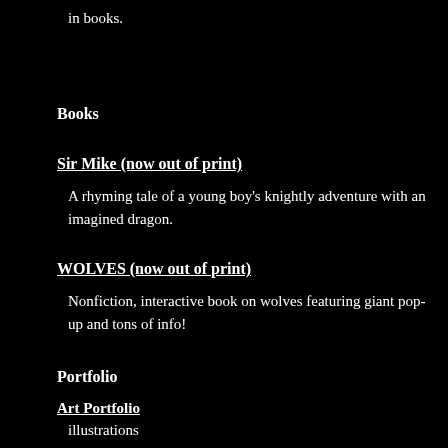in books.
Books
Sir Mike (now out of print)
A rhyming tale of a young boy's knightly adventure with an imagined dragon.
WOLVES (now out of print)
Nonfiction, interactive book on wolves featuring giant pop-up and tons of info!
Portfolio
Art Portfolio
illustrations
Quick Links
E-mail the author